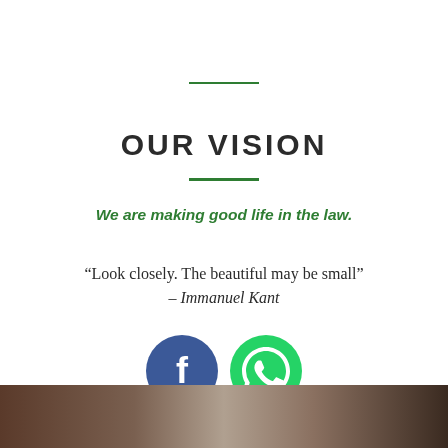OUR VISION
We are making good life in the law.
“Look closely. The beautiful may be small” – Immanuel Kant
[Figure (illustration): Facebook and WhatsApp social media icons as circular buttons (blue and green respectively)]
[Figure (photo): Bottom strip showing a partial photograph of a person in dark clothing]